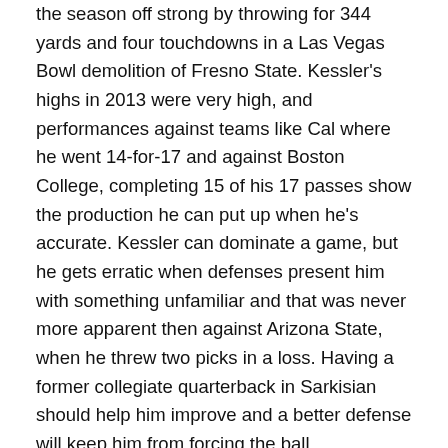the season off strong by throwing for 344 yards and four touchdowns in a Las Vegas Bowl demolition of Fresno State. Kessler's highs in 2013 were very high, and performances against teams like Cal where he went 14-for-17 and against Boston College, completing 15 of his 17 passes show the production he can put up when he's accurate. Kessler can dominate a game, but he gets erratic when defenses present him with something unfamiliar and that was never more apparent then against Arizona State, when he threw two picks in a loss. Having a former collegiate quarterback in Sarkisian should help him improve and a better defense will keep him from forcing the ball.